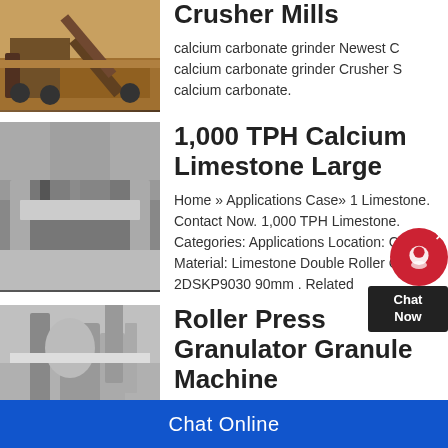[Figure (photo): Industrial crusher mill machinery with conveyor belt on dirt ground]
Crusher Mills
calcium carbonate grinder Newest C calcium carbonate grinder Crusher S calcium carbonate.
[Figure (photo): Large limestone crushing machinery in a quarry setting]
1,000 TPH Calcium Limestone Large
Home » Applications Case» 1 Limestone. Contact Now. 1,000 TPH Limestone. Categories: Applications Location: China Material: Limestone Double Roller Crusher 2DSKP9030 90mm . Related
[Figure (photo): Industrial granulator plant with silos and processing equipment]
Roller Press Granulator Granule Machine
Chat Online